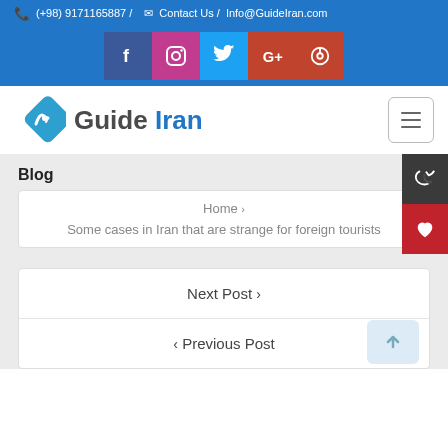(+98) 9171165887 / Contact Us / Info@GuideIran.com
[Figure (screenshot): Social media icons row: Facebook, Instagram, Twitter, Google+, Pinterest on blue background]
[Figure (logo): Guide Iran logo — blue diamond arrow icon with text 'Guide Iran']
Blog
Home > Some cases in Iran that are strange for foreign tourists
Next Post >
< Previous Post